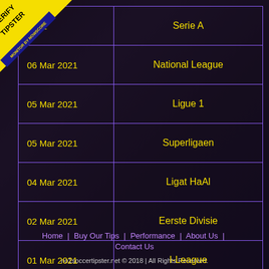[Figure (other): Verify Tipster badge in top-left corner with yellow triangle, 'VERIFY TIPSTER' text and 'MONITOR BY NOWSCORE' on dark blue band]
| Date | League |
| --- | --- |
| 2021 | Serie A |
| 06 Mar 2021 | National League |
| 05 Mar 2021 | Ligue 1 |
| 05 Mar 2021 | Superligaen |
| 04 Mar 2021 | Ligat HaAl |
| 02 Mar 2021 | Eerste Divisie |
| 01 Mar 2021 | I-League |
Home | Buy Our Tips | Performance | About Us | Contact Us
no1soccertipster.net © 2018 | All Rights Reserved.